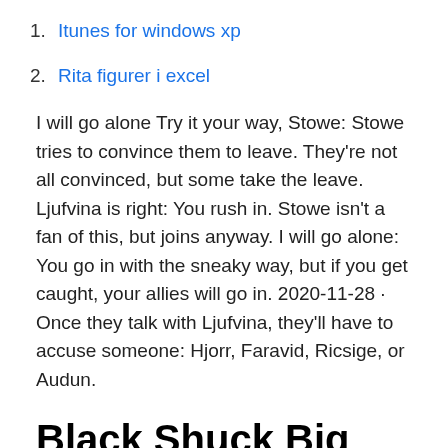1. Itunes for windows xp
2. Rita figurer i excel
I will go alone Try it your way, Stowe: Stowe tries to convince them to leave. They’re not all convinced, but some take the leave. Ljufvina is right: You rush in. Stowe isn’t a fan of this, but joins anyway. I will go alone: You go in with the sneaky way, but if you get caught, your allies will go in. 2020-11-28 · Once they talk with Ljufvina, they'll have to accuse someone: Hjorr, Faravid, Ricsige, or Audun.
Black Shuck Big Shop